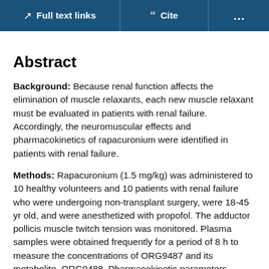Full text links | Cite | ...
Abstract
Background: Because renal function affects the elimination of muscle relaxants, each new muscle relaxant must be evaluated in patients with renal failure. Accordingly, the neuromuscular effects and pharmacokinetics of rapacuronium were identified in patients with renal failure.
Methods: Rapacuronium (1.5 mg/kg) was administered to 10 healthy volunteers and 10 patients with renal failure who were undergoing non-transplant surgery, were 18-45 yr old, and were anesthetized with propofol. The adductor pollicis muscle twitch tension was monitored. Plasma samples were obtained frequently for a period of 8 h to measure the concentrations of ORG9487 and its metabolite, ORG9488. Pharmacokinetic parameters...